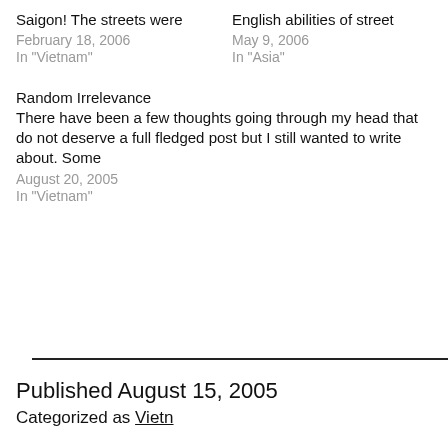Saigon! The streets were
February 18, 2006
In "Vietnam"
English abilities of street
May 9, 2006
In "Asia"
Random Irrelevance
There have been a few thoughts going through my head that do not deserve a full fledged post but I still wanted to write about. Some
August 20, 2005
In "Vietnam"
Published August 15, 2005
Categorized as Vietnam